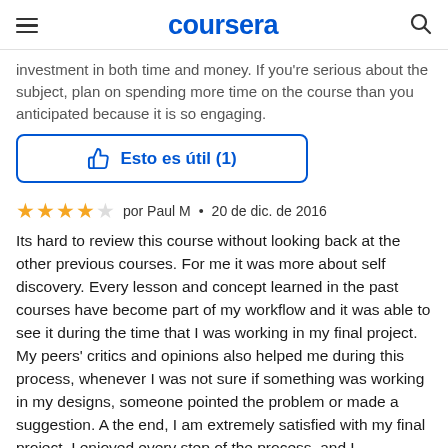coursera
investment in both time and money.  If you're serious about the subject, plan on spending more time on the course than you anticipated because it is so engaging.
Esto es útil (1)
por Paul M  •  20 de dic. de 2016
Its hard to review this course without looking back at the other previous courses. For me it was more about self discovery. Every lesson and concept learned in the past courses have become part of my workflow and it was able to see it during the time that I was working in my final project. My peers' critics and opinions also helped me during this process, whenever I was not sure if something was working in my designs, someone pointed the problem or made a suggestion. A the end, I am extremely satisfied with my final project, I enjoyed every step of the process, and I discovered